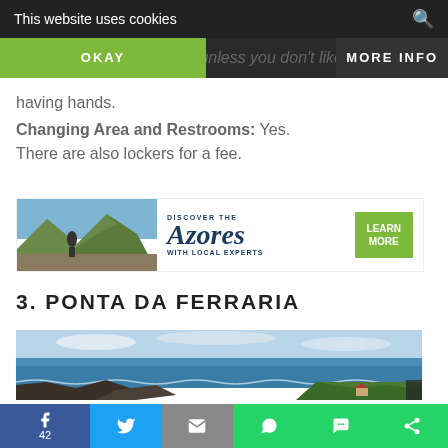This website uses cookies
OKAY
MORE INFO
having hands.
Changing Area and Restrooms: Yes. There are also lockers for a fee.
[Figure (illustration): Advertisement banner for Discover the Azores with Local Experts, showing a mountain biker on rocky terrain, the Azores cursive logo, and a green LEARN MORE button]
3. PONTA DA FERRARIA
[Figure (photo): Aerial photograph of Ponta da Ferraria coastline in the Azores, showing volcanic rocky cliffs meeting the blue Atlantic Ocean with waves, and green vegetation]